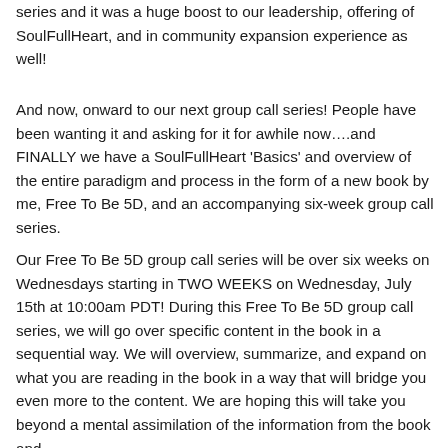series and it was a huge boost to our leadership, offering of SoulFullHeart, and in community expansion experience as well!
And now, onward to our next group call series! People have been wanting it and asking for it for awhile now….and FINALLY we have a SoulFullHeart 'Basics' and overview of the entire paradigm and process in the form of a new book by me, Free To Be 5D, and an accompanying six-week group call series.
Our Free To Be 5D group call series will be over six weeks on Wednesdays starting in TWO WEEKS on Wednesday, July 15th at 10:00am PDT! During this Free To Be 5D group call series, we will go over specific content in the book in a sequential way. We will overview, summarize, and expand on what you are reading in the book in a way that will bridge you even more to the content. We are hoping this will take you beyond a mental assimilation of the information from the book and